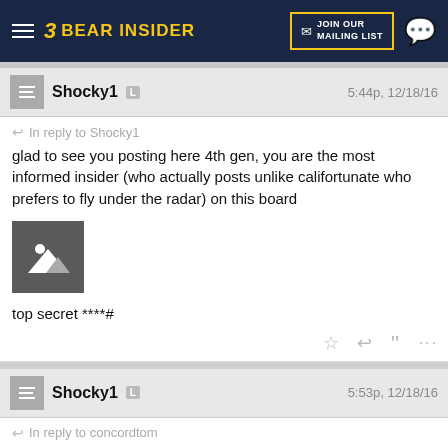Bear Insider — JOIN OUR MAILING LIST
Shocky1  L  5:44p, 12/18/16
In reply to Shocky1
glad to see you posting here 4th gen, you are the most informed insider (who actually posts unlike califortunate who prefers to fly under the radar) on this board
[Figure (photo): Image placeholder icon showing a mountain/landscape symbol]
top secret ****#
Shocky1  L  5:53p, 12/18/16
In reply to concordtom
concordtom;842780120 said:
Wow. Really?
Well that explains a LOT!